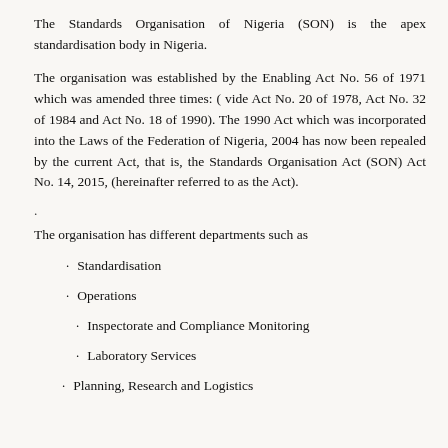The Standards Organisation of Nigeria (SON) is the apex standardisation body in Nigeria.
The organisation was established by the Enabling Act No. 56 of 1971 which was amended three times: ( vide Act No. 20 of 1978, Act No. 32 of 1984 and Act No. 18 of 1990). The 1990 Act which was incorporated into the Laws of the Federation of Nigeria, 2004 has now been repealed by the current Act, that is, the Standards Organisation Act (SON) Act No. 14, 2015, (hereinafter referred to as the Act).
.
The organisation has different departments such as
Standardisation
Operations
Inspectorate and Compliance Monitoring
Laboratory Services
Planning, Research and Logistics